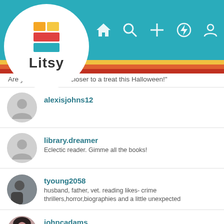[Figure (screenshot): Litsy app header with teal navigation bar, Litsy logo (stacked books icon and text), and navigation icons for home, search, add, activity, and profile]
Are you here getting closer to a treat this Halloween!"
alexisjohns12
library.dreamer — Eclectic reader. Gimme all the books!
tyoung2058 — husband, father, vet. reading likes- crime thrillers,horror,biographies and a little unexpected
johncadams — Nonbinary Reviewer Website: https://www.johncadamsreviews.com/ Smashwords Author Profile: